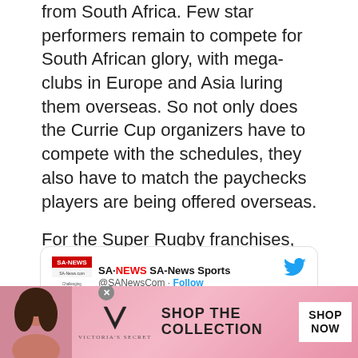from South Africa. Few star performers remain to compete for South African glory, with mega-clubs in Europe and Asia luring them overseas. So not only does the Currie Cup organizers have to compete with the schedules, they also have to match the paychecks players are being offered overseas.
For the Super Rugby franchises, this is easy as one contract usually ensures their players are retained for the Currie Cup, with the exception of a group of elite players who move on to Japan during this time.
[Figure (screenshot): Tweet from SA-News Sports (@SANewsCom) with a Follow button and Twitter bird icon. Tweet text: Rugby: Vermeulen announces he is off]
[Figure (infographic): Victoria's Secret advertisement banner: woman photo on left, VS logo in center, SHOP THE COLLECTION text, SHOP NOW button on right. Pink gradient background.]